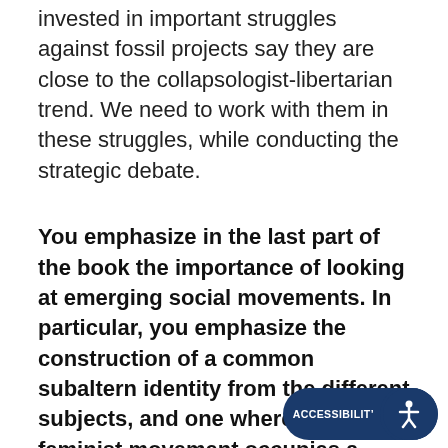invested in important struggles against fossil projects say they are close to the collapsologist-libertarian trend. We need to work with them in these struggles, while conducting the strategic debate.
You emphasize in the last part of the book the importance of looking at emerging social movements. In particular, you emphasize the construction of a common subaltern identity from the different subjects, and one where the feminist movement occupies a central place. What are the key elements of this